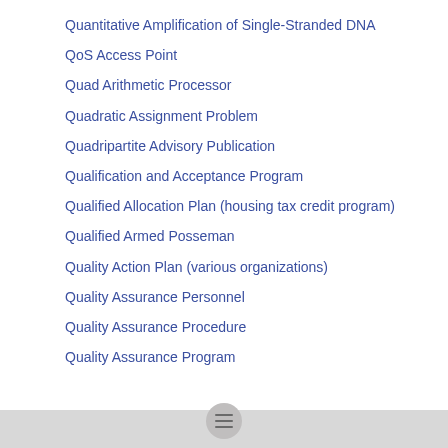Quantitative Amplification of Single-Stranded DNA
QoS Access Point
Quad Arithmetic Processor
Quadratic Assignment Problem
Quadripartite Advisory Publication
Qualification and Acceptance Program
Qualified Allocation Plan (housing tax credit program)
Qualified Armed Posseman
Quality Action Plan (various organizations)
Quality Assurance Personnel
Quality Assurance Procedure
Quality Assurance Program